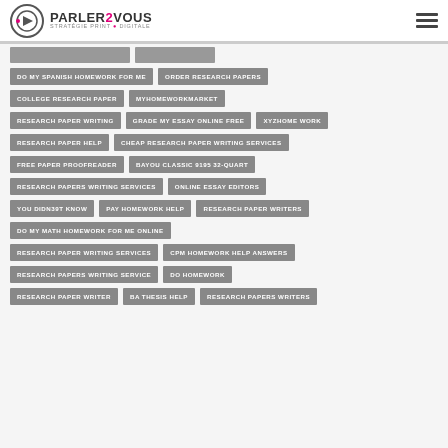PARLER2VOUS STRATÉGIE PRINT & DIGITALE
DO MY SPANISH HOMEWORK FOR ME
ORDER RESEARCH PAPERS
COLLEGE RESEARCH PAPER
MYHOMEWORKMARKET
RESEARCH PAPER WRITING
GRADE MY ESSAY ONLINE FREE
XYZHOME WORK
RESEARCH PAPER HELP
CHEAP RESEARCH PAPER WRITING SERVICES
FREE PAPER PROOFREADER
BAYOU CLASSIC 9195 32-QUART
RESEARCH PAPERS WRITING SERVICES
ONLINE ESSAY EDITORS
YOU DIDN39T KNOW
PAY HOMEWORK HELP
RESEARCH PAPER WRITERS
DO MY MATH HOMEWORK FOR ME ONLINE
RESEARCH PAPER WRITING SERVICES
CPM HOMEWORK HELP ANSWERS
RESEARCH PAPERS WRITING SERVICE
DO HOMEWORK
RESEARCH PAPER WRITER
BA THESIS HELP
RESEARCH PAPERS WRITERS